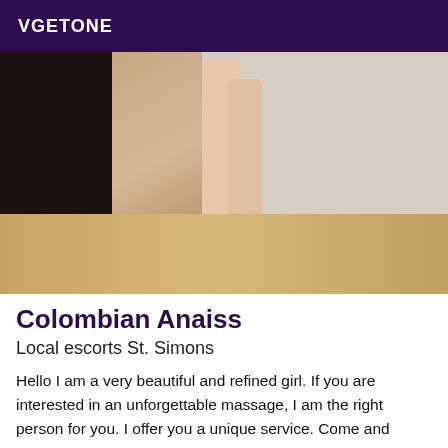VGETONE
[Figure (photo): Photo showing legs of a person wearing black high heel shoes, standing on a wooden floor next to a dark door frame, with a beige wall in the background.]
Colombian Anaiss
Local escorts St. Simons
Hello I am a very beautiful and refined girl. If you are interested in an unforgettable massage, I am the right person for you. I offer you a unique service. Come and